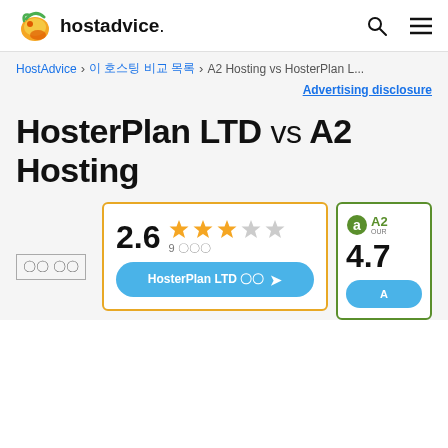hostadvice.
HostAdvice > 이 호스팅 비교 목록 > A2 Hosting vs HosterPlan L...
Advertising disclosure
HosterPlan LTD vs A2 Hosting
평점 순위
[Figure (other): HosterPlan LTD card showing rating 2.6 with 3 gold stars and 2 gray stars, 9 reviews, and a button labeled HosterPlan LTD 방문]
[Figure (other): A2 Hosting card showing A2 logo with OUR CHOICE badge and rating 4.7, with a blue CTA button]